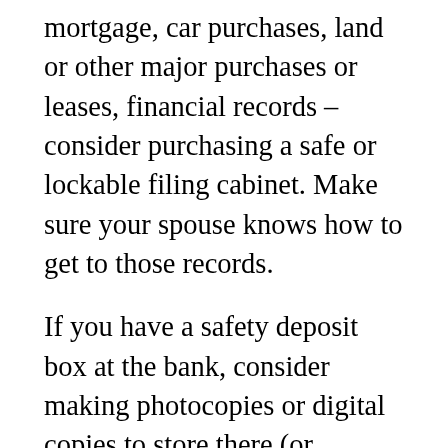mortgage, car purchases, land or other major purchases or leases, financial records – consider purchasing a safe or lockable filing cabinet. Make sure your spouse knows how to get to those records.
If you have a safety deposit box at the bank, consider making photocopies or digital copies to store there (or somewhere else you deem safe). I know some folks also will make videos of their home, inside and out, to have a record in case of fire or robbery. It's easy to remember some of the big or sentimental things but all of the little things – books, other valuables, outdoors